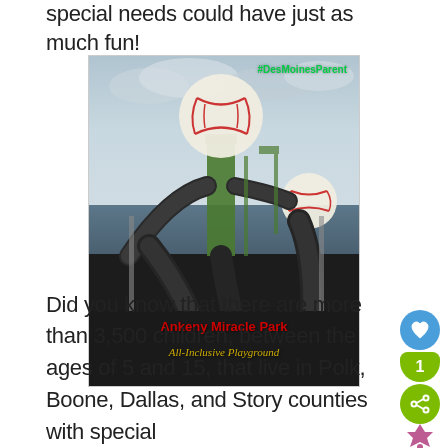special needs could have just as much fun!
[Figure (photo): Photo of Ankeny Miracle Park All-Inclusive Playground showing a baseball-themed playground structure with large baseball sculptures on top, dark tube slides, against a cloudy sky. Overlaid text: #DesMoinesParent in green top right, 'Ankeny Miracle Park' in red bold text bottom, 'All-Inclusive Playground' in gold italic text.]
Did you know that there are more than 3,500 children, between the ages of 5 and 15, that live in Polk, Boone, Dallas, and Story counties with special